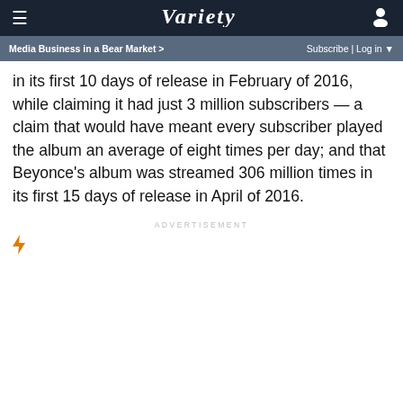Variety — Media Business in a Bear Market > | Subscribe | Log in
in its first 10 days of release in February of 2016, while claiming it had just 3 million subscribers — a claim that would have meant every subscriber played the album an average of eight times per day; and that Beyonce's album was streamed 306 million times in its first 15 days of release in April of 2016.
ADVERTISEMENT